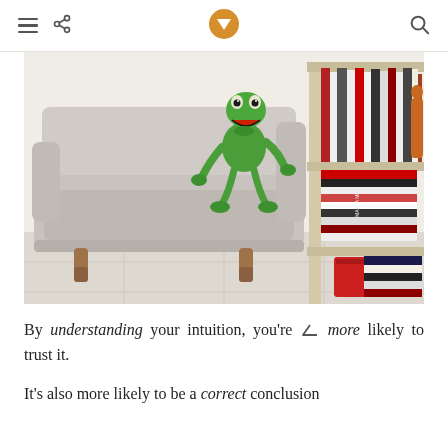navigation bar with hamburger menu, share icon, logo, and search icon
[Figure (photo): A light gray fabric sofa with wooden legs, with a green Kermit the Frog plush toy sitting on the right armrest. To the right is a white bookshelf filled with books and a small red box on the floor. The floor is light beige tile.]
By understanding your intuition, you're more likely to trust it.
It's also more likely to be a correct conclusion